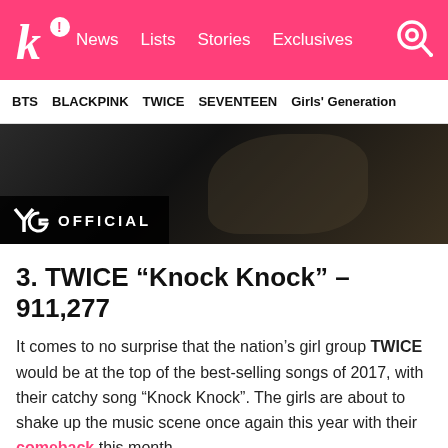k! News Lists Stories Exclusives
BTS BLACKPINK TWICE SEVENTEEN Girls' Generation
[Figure (photo): YG Official music video screenshot — dark scene with YG OFFICIAL logo watermark in bottom left]
3. TWICE “Knock Knock” – 911,277
It comes to no surprise that the nation’s girl group TWICE would be at the top of the best-selling songs of 2017, with their catchy song “Knock Knock”. The girls are about to shake up the music scene once again this year with their comeback this month.